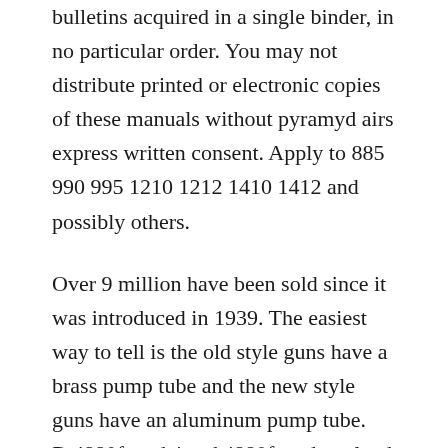bulletins acquired in a single binder, in no particular order. You may not distribute printed or electronic copies of these manuals without pyramyd airs express written consent. Apply to 885 990 995 1210 1212 1410 1412 and possibly others.
Over 9 million have been sold since it was introduced in 1939. The easiest way to tell is the old style guns have a brass pump tube and the new style guns have an aluminum pump tube. Dai880fsm daisy dai880fsm download factory service manual for daisy 880, 881, an. Included free with each manual purchased is a